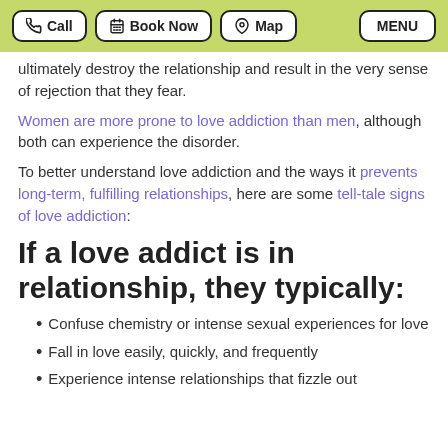Call | Book Now | Map | MENU
ultimately destroy the relationship and result in the very sense of rejection that they fear.
Women are more prone to love addiction than men, although both can experience the disorder.
To better understand love addiction and the ways it prevents long-term, fulfilling relationships, here are some tell-tale signs of love addiction:
If a love addict is in relationship, they typically:
Confuse chemistry or intense sexual experiences for love
Fall in love easily, quickly, and frequently
Experience intense relationships that fizzle out